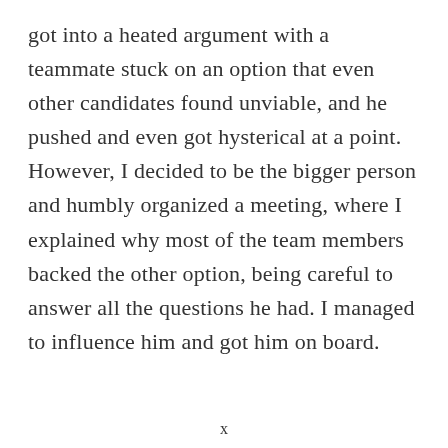got into a heated argument with a teammate stuck on an option that even other candidates found unviable, and he pushed and even got hysterical at a point. However, I decided to be the bigger person and humbly organized a meeting, where I explained why most of the team members backed the other option, being careful to answer all the questions he had. I managed to influence him and got him on board.
x